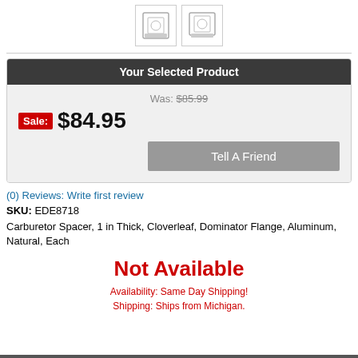[Figure (photo): Two thumbnail images of a carburetor spacer product]
Your Selected Product
Was: $85.99
Sale: $84.95
Tell A Friend
(0) Reviews: Write first review
SKU: EDE8718
Carburetor Spacer, 1 in Thick, Cloverleaf, Dominator Flange, Aluminum, Natural, Each
Not Available
Availability: Same Day Shipping!
Shipping: Ships from Michigan.